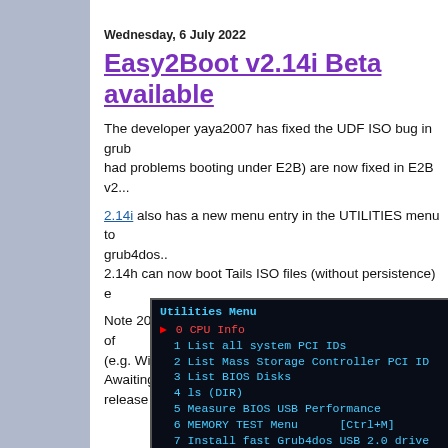Wednesday, 6 July 2022
Easy2Boot v2.14i Beta available
The developer yaya2007 has fixed the UDF ISO bug in grub had problems booting under E2B) are now fixed in E2B v2...
2.14i also has a new menu entry in the UTILITIES menu to grub4dos..
2.14h can now boot Tails ISO files (without persistence) e
Note 2022-07-13: 2.14i and later uses the latest version of (e.g. Windows Install ISOs give  unattend error). Awaiting release 2.15.
[Figure (screenshot): Terminal screenshot showing Utilities Menu with options: 0 CPU Info (selected/highlighted in red), 1 List all system PCI IDs, 2 List Mass Storage Controller PCI IDs, 3 List BIOS Disks, 4 ls (DIR), 5 Measure BIOS USB Performance, 6 MEMORY TEST Menu [Ctrl+M], 7 Install fast Grub4dos USB 2.0 drive, 8 Boot to first HDD [F7], and more]